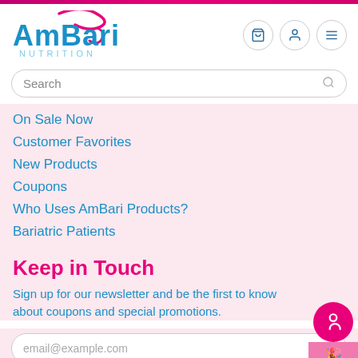[Figure (logo): AmBari Nutrition logo with pink swirl above 'AmBari' in teal and 'NUTRITION' in light blue below]
On Sale Now
Customer Favorites
New Products
Coupons
Who Uses AmBari Products?
Bariatric Patients
Keep in Touch
Sign up for our newsletter and be the first to know about coupons and special promotions.